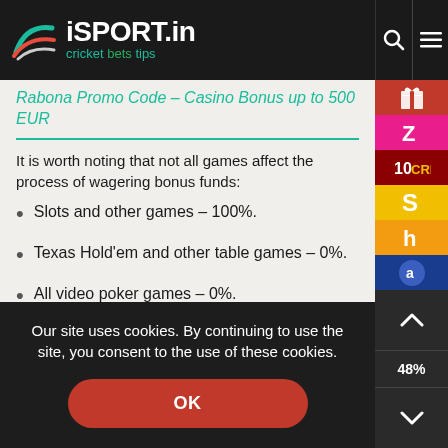iSPORT.in — cricket bets tips
Rabona Promo Code – Casino Bonus up to 500 EUR
It is worth noting that not all games affect the process of wagering bonus funds:
Slots and other games – 100%.
Texas Hold'em and other table games – 0%.
All video poker games – 0%.
Our site uses cookies. By continuing to use the site, you consent to the use of these cookies.